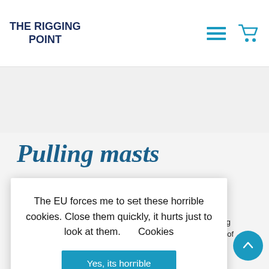THE RIGGING POINT
Pulling masts
We provide necessary structure and fully equipped g, servicing dware. All of pared to
The EU forces me to set these horrible cookies. Close them quickly, it hurts just to look at them.    Cookies
Yes, its horrible